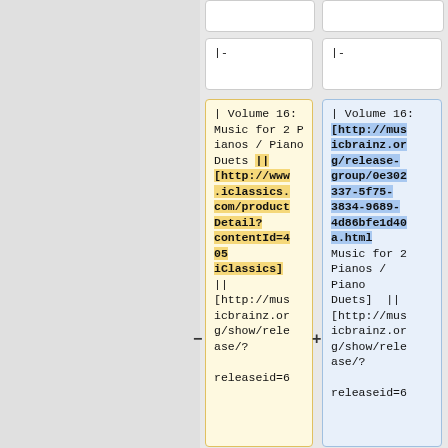|-
|-
| Volume 16: Music for 2 Pianos / Piano Duets || [http://www.iclassics.com/productDetail?contentId=405 iClassics] || [http://musicbrainz.org/show/release/?releaseid=6
| Volume 16: [http://musicbrainz.org/release-group/0e302337-5f75-3834-9689-4d86bfe1d40a.html Music for 2 Pianos / Piano Duets] || [http://musicbrainz.org/show/release/?releaseid=6